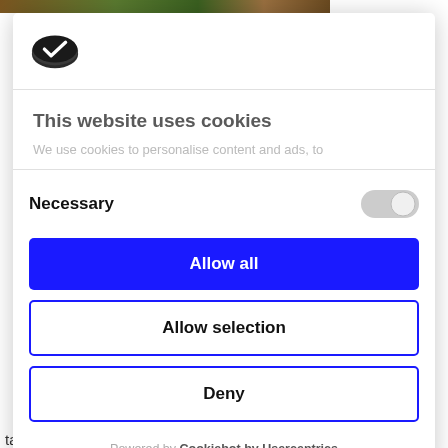[Figure (screenshot): Cookie consent modal dialog with Cookiebot logo, title 'This website uses cookies', description text, Necessary toggle switch, Allow all button, Allow selection button, Deny button, and Powered by Cookiebot by Usercentrics footer]
This website uses cookies
We use cookies to personalise content and ads, to
Necessary
Allow all
Allow selection
Deny
Powered by Cookiebot by Usercentrics
tauna plantations